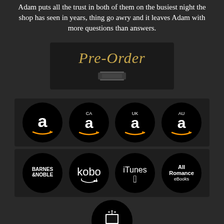Adam puts all the trust in both of them on the busiest night the shop has seen in years, thing go awry and it leaves Adam with more questions than answers.
[Figure (illustration): Pre-Order button graphic with gold italic cursive text 'Pre-Order' on dark background with small book/stack image below]
[Figure (illustration): Row of four Amazon retailer circular logos on dark background: Amazon US, Amazon CA, Amazon UK, Amazon AU]
[Figure (illustration): Row of four retailer circular logos: Barnes & Noble, Kobo, iTunes, All Romance eBooks]
[Figure (logo): Smashwords circular logo on dark background]